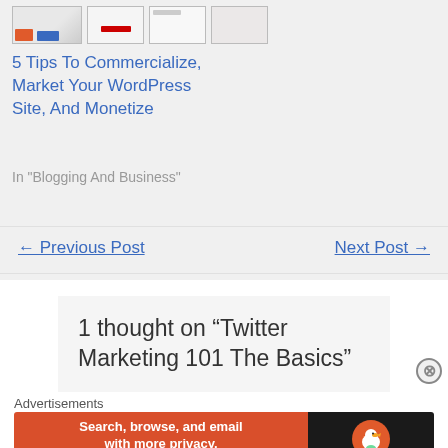[Figure (screenshot): Thumbnail images of blog post previews in a row]
5 Tips To Commercialize, Market Your WordPress Site, And Monetize
In "Blogging And Business"
← Previous Post
Next Post →
1 thought on “Twitter Marketing 101 The Basics”
Advertisements
[Figure (infographic): DuckDuckGo advertisement banner: Search, browse, and email with more privacy. All in One Free App. DuckDuckGo logo on dark right panel.]